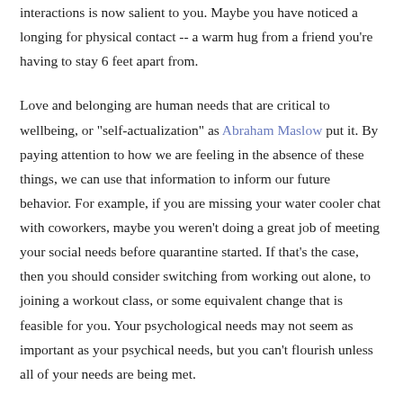interactions is now salient to you. Maybe you have noticed a longing for physical contact -- a warm hug from a friend you're having to stay 6 feet apart from.
Love and belonging are human needs that are critical to wellbeing, or "self-actualization" as Abraham Maslow put it. By paying attention to how we are feeling in the absence of these things, we can use that information to inform our future behavior. For example, if you are missing your water cooler chat with coworkers, maybe you weren't doing a great job of meeting your social needs before quarantine started. If that's the case, then you should consider switching from working out alone, to joining a workout class, or some equivalent change that is feasible for you. Your psychological needs may not seem as important as your psychical needs, but you can't flourish unless all of your needs are being met.
The second is outdoor time. If you live in Chicago, then you are probably used to the Seasonal Affective Disorder (a.k.a.